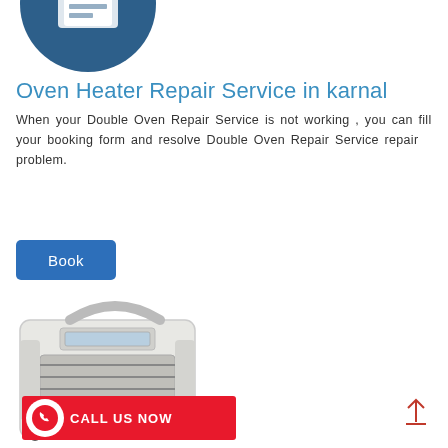[Figure (illustration): Blue circle icon with a document/envelope icon inside, partially cropped at top]
Oven Heater Repair Service in karnal
When your Double Oven Repair Service is not working , you can fill your booking form and resolve Double Oven Repair Service repair problem.
[Figure (other): Book button - blue rectangular button with text 'Book']
[Figure (photo): Photo of a white portable electric heater unit with a handle on top and ventilation grilles on the front]
[Figure (other): Red 'CALL US NOW' banner with phone icon on the left]